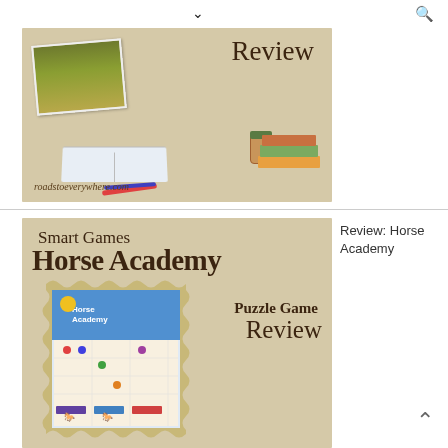▾  🔍
[Figure (illustration): Top banner: tan/beige background with script text 'Review', a photo of a field, illustrated books, open book, coffee cup, pencils, and website text 'roadstoeverywhere.com']
[Figure (illustration): Bottom banner: tan/beige background with 'Smart Games' in script, 'Horse Academy' in large serif, 'Puzzle Game Review' text, and a stamp-bordered photo of the Horse Academy board game box and pieces]
Review: Horse Academy